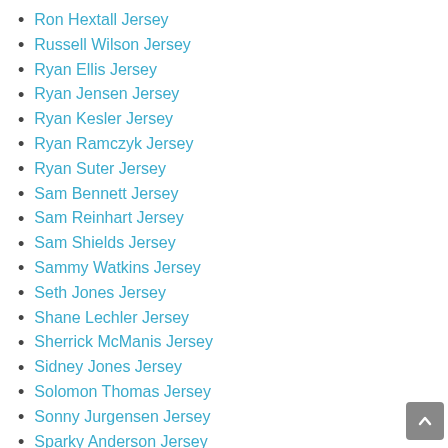Ron Hextall Jersey
Russell Wilson Jersey
Ryan Ellis Jersey
Ryan Jensen Jersey
Ryan Kesler Jersey
Ryan Ramczyk Jersey
Ryan Suter Jersey
Sam Bennett Jersey
Sam Reinhart Jersey
Sam Shields Jersey
Sammy Watkins Jersey
Seth Jones Jersey
Shane Lechler Jersey
Sherrick McManis Jersey
Sidney Jones Jersey
Solomon Thomas Jersey
Sonny Jurgensen Jersey
Sparky Anderson Jersey
Spencer Long Jersey
Stephen Curry Jersey